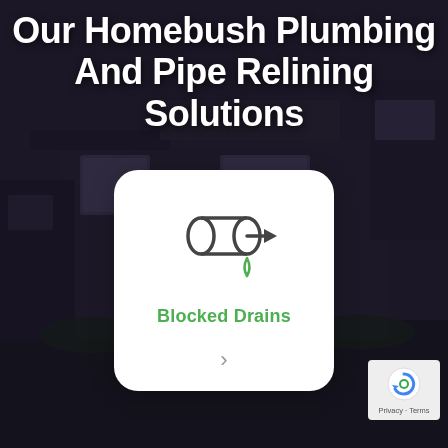Our Homebush Plumbing And Pipe Relining Solutions
[Figure (illustration): Service card with a pipe/drain icon dripping water, labeled 'Blocked Drains' with a right-arrow navigation chevron, on a white rounded card. Background shows a dark night photo of a modern house.]
[Figure (logo): Google reCAPTCHA badge in bottom right corner with 'Privacy · Terms' text]